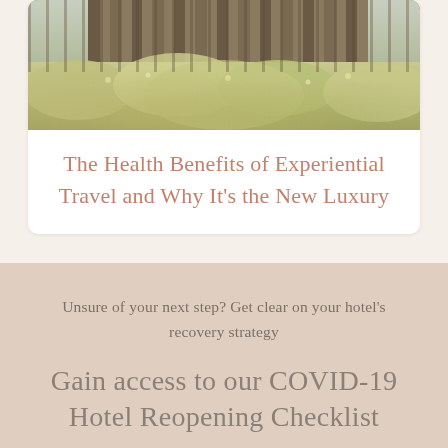[Figure (photo): Outdoor nature photo showing lush greenery and wildflowers with wooden structure in the background]
The Health Benefits of Experiential Travel and Why It’s the New Luxury
Unsure of your next step? Get clear on your hotel’s recovery strategy
Gain access to our COVID-19 Hotel Reopening Checklist